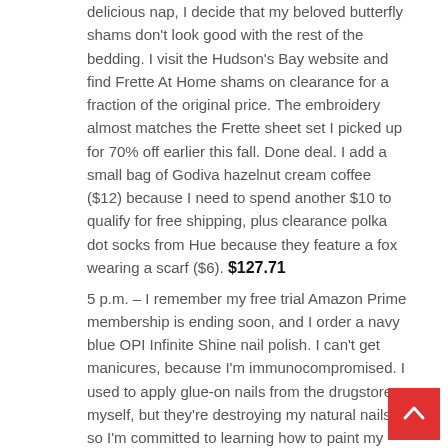delicious nap, I decide that my beloved butterfly shams don't look good with the rest of the bedding. I visit the Hudson's Bay website and find Frette At Home shams on clearance for a fraction of the original price. The embroidery almost matches the Frette sheet set I picked up for 70% off earlier this fall. Done deal. I add a small bag of Godiva hazelnut cream coffee ($12) because I need to spend another $10 to qualify for free shipping, plus clearance polka dot socks from Hue because they feature a fox wearing a scarf ($6). $127.71
5 p.m. – I remember my free trial Amazon Prime membership is ending soon, and I order a navy blue OPI Infinite Shine nail polish. I can't get manicures, because I'm immunocompromised. I used to apply glue-on nails from the drugstore myself, but they're destroying my natural nails, so I'm committed to learning how to paint my own. So far it's going…okay. I pour a sparkling